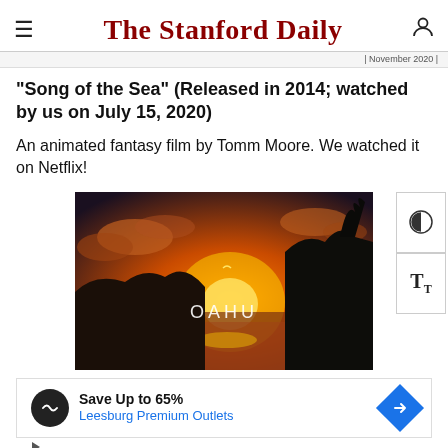The Stanford Daily
“Song of the Sea” (Released in 2014; watched by us on July 15, 2020)
An animated fantasy film by Tomm Moore. We watched it on Netflix!
[Figure (photo): Sunset over the ocean with rocky cliffs and the text 'OAHU' overlaid in white]
Save Up to 65%
Leesburg Premium Outlets